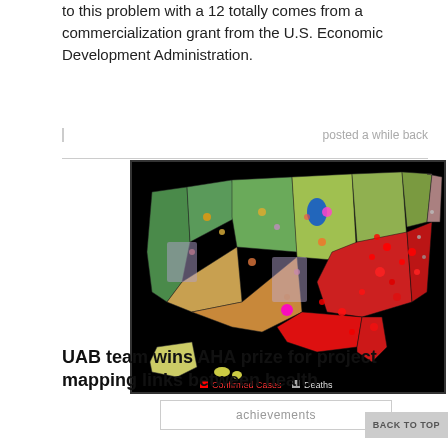to this problem with a 12 totally comes from a commercialization grant from the U.S. Economic Development Administration.
posted a while back
[Figure (map): A choropleth/dot map of the United States showing Confirmed Cases (red) and Deaths (gray/white) by county or region. The eastern US shows heavy red concentration. Legend at bottom: red square = Confirmed Cases, gray square = Deaths.]
achievements
UAB team wins AHA prize for project mapping links between health